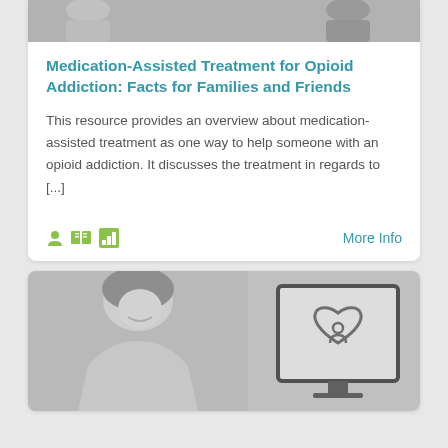[Figure (photo): Grayscale photo strip at top of card showing people]
Medication-Assisted Treatment for Opioid Addiction: Facts for Families and Friends
This resource provides an overview about medication-assisted treatment as one way to help someone with an opioid addiction. It discusses the treatment in regards to [...]
[Figure (illustration): Small green icons: person icon, open book icon, bar chart icon]
More Info
[Figure (photo): Grayscale photo of a woman smiling and a computer monitor with a heart/person logo on screen]